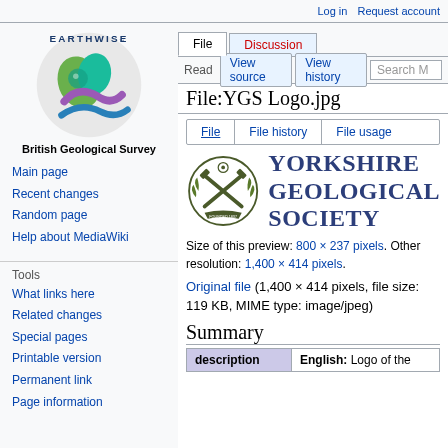Log in   Request account
[Figure (logo): Earthwise British Geological Survey logo — circular emblem with earth/leaf/wave motifs in green, teal, purple, blue]
British Geological Survey
Main page
Recent changes
Random page
Help about MediaWiki
Tools
What links here
Related changes
Special pages
Printable version
Permanent link
Page information
File:YGS Logo.jpg
[Figure (logo): Yorkshire Geological Society logo — heraldic emblem with crossed hammers and floral wreath, alongside bold text YORKSHIRE GEOLOGICAL SOCIETY]
Size of this preview: 800 × 237 pixels. Other resolution: 1,400 × 414 pixels.
Original file (1,400 × 414 pixels, file size: 119 KB, MIME type: image/jpeg)
Summary
| description | English: Logo of the |
| --- | --- |